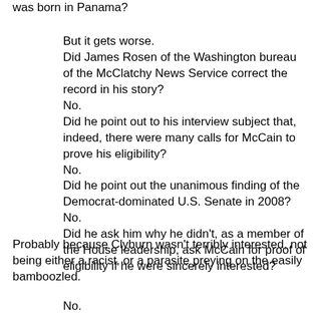was born in Panama?
But it gets worse.
Did James Rosen of the Washington bureau of the McClatchy News Service correct the record in his story?
No.
Did he point out to his interview subject that, indeed, there were many calls for McCain to prove his eligibility?
No.
Did he point out the unanimous finding of the Democrat-dominated U.S. Senate in 2008?
No.
Did he ask him why he didn't, as a member of the House leadership, ask McCain for proof of eligibility if he were sincerely interested?
Probably because Clyburn wasn't terribly interested, not being either a racist, or a parasite preying on the easily bamboozled.
No.